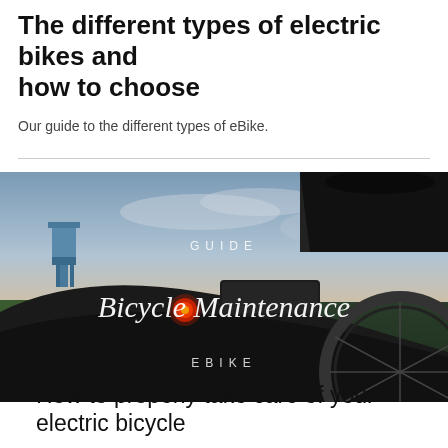The different types of electric bikes and how to choose
Our guide to the different types of eBike.
[Figure (photo): Close-up rear view of an electric bicycle at dusk near a beach, with a red tail light glowing. Overlaid text reads 'GUIDE' in spaced capitals and 'Bicycle Maintenance' in cursive script, with 'EBIKE' in spaced capitals below.]
How to properly take care of your electric bicycle